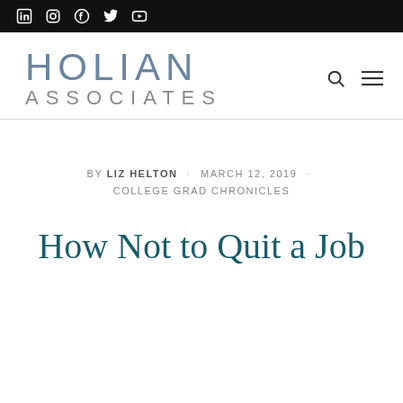Social media icons bar (LinkedIn, Instagram, Facebook, Twitter, YouTube)
[Figure (logo): Holian Associates logo with search and menu icons]
BY LIZ HELTON · MARCH 12, 2019 · COLLEGE GRAD CHRONICLES
How Not to Quit a Job